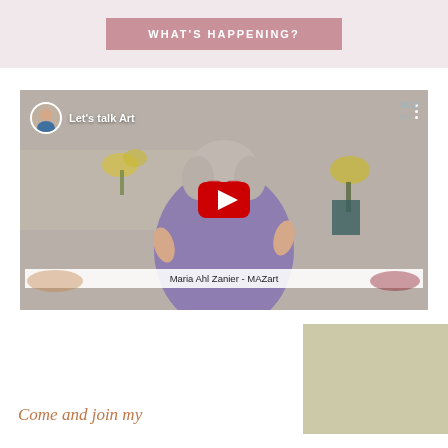WHAT'S HAPPENING?
[Figure (screenshot): YouTube video thumbnail showing a woman with gray curly hair and red glasses in a purple shirt, with a YouTube play button overlay. Title says 'Let's talk Art' with a circular avatar in top-left. Bottom bar shows 'Maria Ahl Zanier - MAZart'. Background shows a shelf with yellow flowers.]
Come and join my